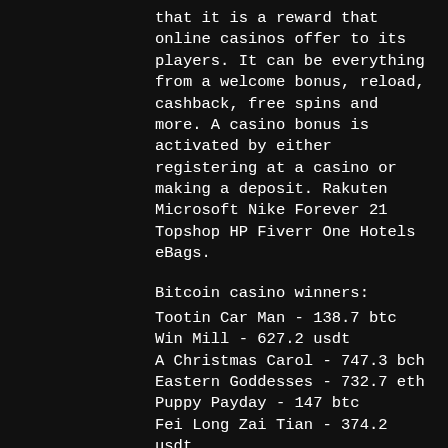that it is a reward that online casinos offer to its players. It can be everything from a welcome bonus, reload, cashback, free spins and more. A casino bonus is activated by either registering at a casino or making a deposit. Rakuten Microsoft Nike Forever 21 Topshop HP Fiverr One Hotels eBags.
Bitcoin casino winners:
Tootin Car Man - 138.7 btc
Win Mill - 627.2 usdt
A Christmas Carol - 747.3 bch
Eastern Goddesses - 732.7 eth
Puppy Payday - 147 btc
Fei Long Zai Tian - 374.2 usdt
Golden Shot - 448.2 eth
Bubble Craze - 441.6 bch
Ten Times Wins - 131.7 bch
Tiger and Dragon - 722.5 usdt
Golden Bucks - 718.9 ltc
Vegas VIP Gold - 149.8 btc